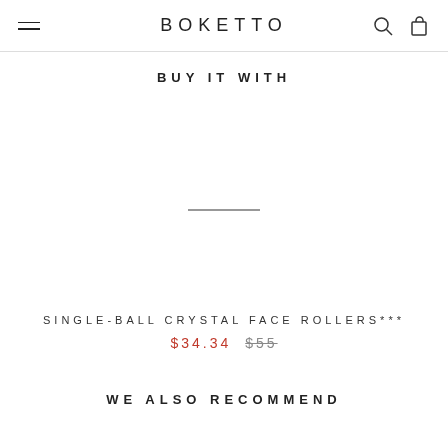BOKETTO
BUY IT WITH
[Figure (other): Empty product image area with a horizontal divider line in the center]
SINGLE-BALL CRYSTAL FACE ROLLERS***
$34.34  $55
WE ALSO RECOMMEND